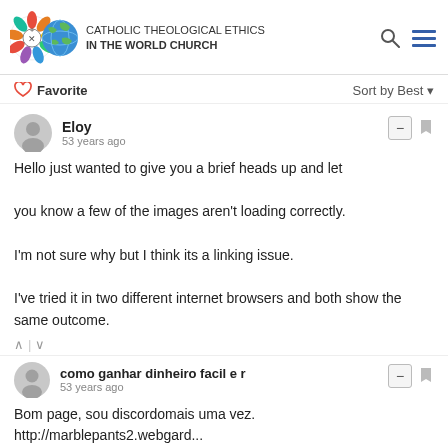CATHOLIC THEOLOGICAL ETHICS IN THE WORLD CHURCH
Favorite  Sort by Best
Eloy
53 years ago
Hello just wanted to give you a brief heads up and let you know a few of the images aren't loading correctly. I'm not sure why but I think its a linking issue. I've tried it in two different internet browsers and both show the same outcome.
como ganhar dinheiro facil e r
53 years ago
Bom page, sou discordomais uma vez.
http://marblepants2.webgard...